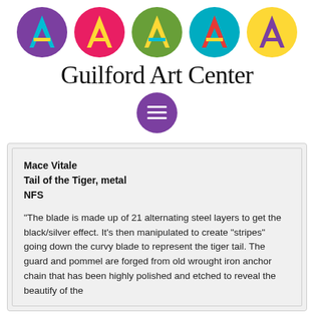[Figure (logo): Five colored circles each containing a letter A in contrasting colors: purple circle with cyan/yellow A, red/pink circle with yellow A, green circle with cyan/yellow A, cyan circle with red A, yellow circle with purple A]
Guilford Art Center
[Figure (other): Purple circle hamburger menu icon with three white horizontal lines]
Mace Vitale
Tail of the Tiger, metal
NFS
“The blade is made up of 21 alternating steel layers to get the black/silver effect. It’s then manipulated to create “stripes” going down the curvy blade to represent the tiger tail. The guard and pommel are forged from old wrought iron anchor chain that has been highly polished and etched to reveal the beautify of the